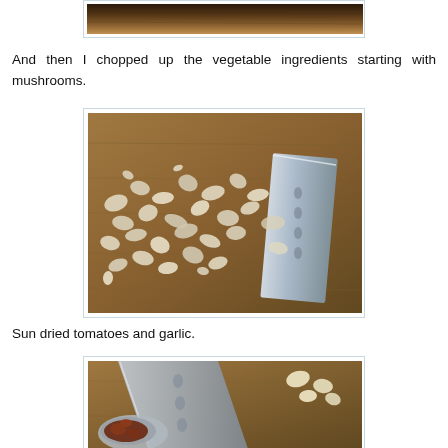[Figure (photo): Top portion of a photo showing a wooden cutting board with food ingredients, partially cropped at top of page]
And then I chopped up the vegetable ingredients starting with mushrooms.
[Figure (photo): Chopped mushrooms scattered on a wooden cutting board with a metal knife blade visible on the right side]
Sun dried tomatoes and garlic.
[Figure (photo): A measuring spoon with sun dried tomatoes and garlic on a wooden cutting board, with a knife visible, partially cropped at bottom of page]